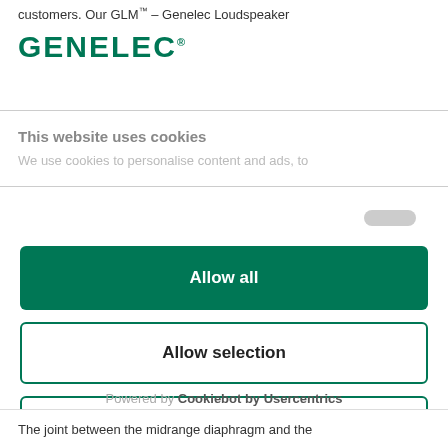customers. Our GLM™ – Genelec Loudspeaker
[Figure (logo): Genelec logo in dark green with registered trademark symbol]
This website uses cookies
We use cookies to personalise content and ads, to
Allow all
Allow selection
Deny
Powered by Cookiebot by Usercentrics
The joint between the midrange diaphragm and the